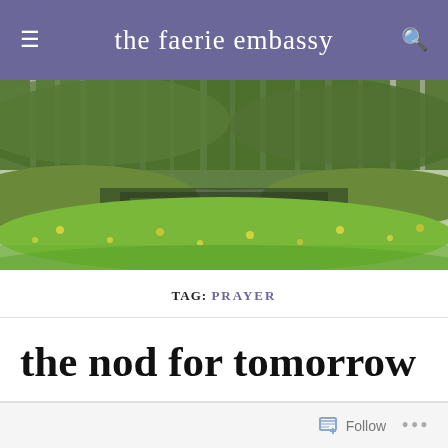the faerie embassy
[Figure (photo): Aerial or ground-level photo of a wetland or pond surrounded by lush green vegetation and birch trees in spring or summer. Water reflects the trees. Yellow-green aquatic plants cover much of the water surface.]
TAG: PRAYER
the nod for tomorrow
Follow ...